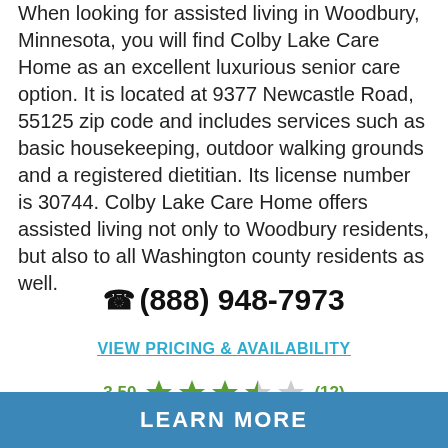When looking for assisted living in Woodbury, Minnesota, you will find Colby Lake Care Home as an excellent luxurious senior care option. It is located at 9377 Newcastle Road, 55125 zip code and includes services such as basic housekeeping, outdoor walking grounds and a registered dietitian. Its license number is 30744. Colby Lake Care Home offers assisted living not only to Woodbury residents, but also to all Washington county residents as well.
(888) 948-7973
VIEW PRICING & AVAILABILITY
3.50 (12)
LEARN MORE